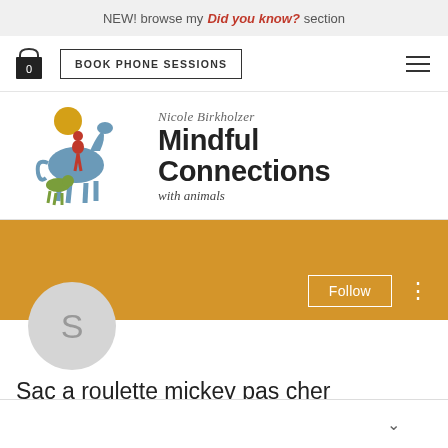NEW! browse my Did you know? section
[Figure (logo): Mindful Connections with animals logo featuring Nicole Birkholzer text, a blue horse, person in red, and green dog illustration with yellow sun]
BOOK PHONE SESSIONS
Sac a roulette mickey pas cher
0 Followers • 0 Following